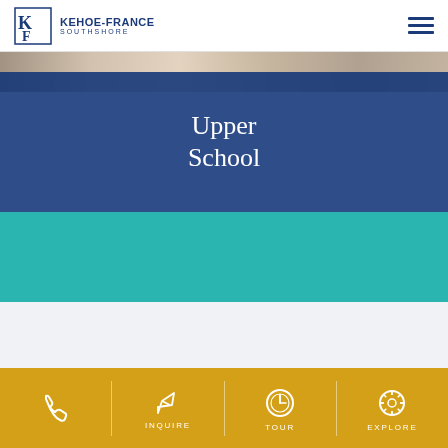Kehoe-France Southshore
Upper School
Kehoe-France Southshore
INQUIRE | TOUR | EXPLORE